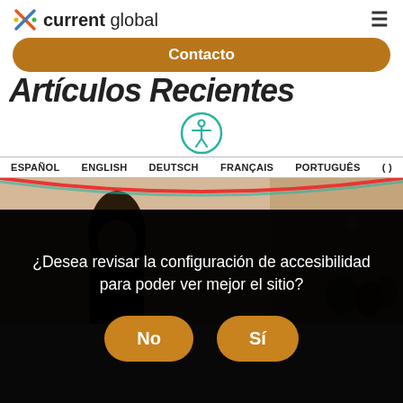current global — navigation bar with hamburger menu
Contacto
Artículos Recientes
[Figure (illustration): Accessibility icon — person with arms and legs spread in a circle, teal outline]
ESPAÑOL   ENGLISH   DEUTSCH   FRANÇAIS   PORTUGUÊS   ( )
[Figure (photo): A woman smiling and holding a device at a conference, with a sign reading PRACTICAL GUIDANCE FOR INCLUSIVE & ACCESSIBLE MARKETING AND COMMUNICATIONS Hosted by:]
¿Desea revisar la configuración de accesibilidad para poder ver mejor el sitio?
No   Sí